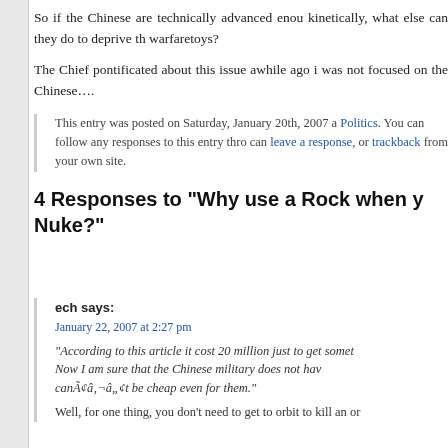So if the Chinese are technically advanced enough to hit kinetically, what else can they do to deprive the warfaretoys?
The Chief pontificated about this issue awhile ago in ... was not focused on the Chinese….
This entry was posted on Saturday, January 20th, 2007 a Politics. You can follow any responses to this entry thro can leave a response, or trackback from your own site.
4 Responses to “Why use a Rock when y Nuke?”
ech says:
January 22, 2007 at 2:27 pm
“According to this article it cost 20 million just to get some Now I am sure that the Chinese military does not have canÃ¢â‚¬â„¢t be cheap even for them.”
Well, for one thing, you don’t need to get to orbit to kill an or